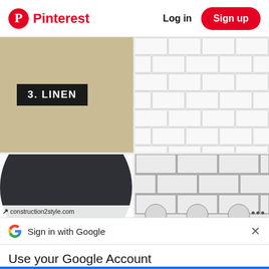Pinterest  Log in  Sign up
[Figure (illustration): Pinterest content area showing two columns: left column has a linen-colored circle with '3. LINEN' label and a dark semicircle with construction2style.com watermark; right column shows white subway tile pattern top and darker tile pattern bottom]
[Figure (screenshot): Google Sign in with Google bar with X close button]
Use your Google Account to sign in to Pinterest
No more passwords to remember. Signing in is fast, simple and secure.